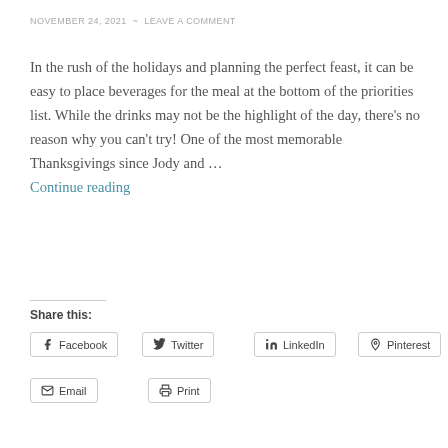NOVEMBER 24, 2021 ~ LEAVE A COMMENT
In the rush of the holidays and planning the perfect feast, it can be easy to place beverages for the meal at the bottom of the priorities list. While the drinks may not be the highlight of the day, there's no reason why you can't try! One of the most memorable Thanksgivings since Jody and …
Continue reading
Share this:
Facebook
Twitter
LinkedIn
Pinterest
Email
Print